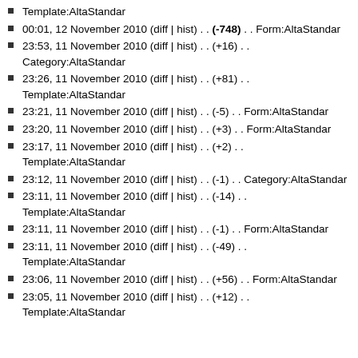Template:AltaStandar
00:01, 12 November 2010 (diff | hist) . . (-748) . . Form:AltaStandar
23:53, 11 November 2010 (diff | hist) . . (+16) . . Category:AltaStandar
23:26, 11 November 2010 (diff | hist) . . (+81) . . Template:AltaStandar
23:21, 11 November 2010 (diff | hist) . . (-5) . . Form:AltaStandar
23:20, 11 November 2010 (diff | hist) . . (+3) . . Form:AltaStandar
23:17, 11 November 2010 (diff | hist) . . (+2) . . Template:AltaStandar
23:12, 11 November 2010 (diff | hist) . . (-1) . . Category:AltaStandar
23:11, 11 November 2010 (diff | hist) . . (-14) . . Template:AltaStandar
23:11, 11 November 2010 (diff | hist) . . (-1) . . Form:AltaStandar
23:11, 11 November 2010 (diff | hist) . . (-49) . . Template:AltaStandar
23:06, 11 November 2010 (diff | hist) . . (+56) . . Form:AltaStandar
23:05, 11 November 2010 (diff | hist) . . (+12) . . Template:AltaStandar